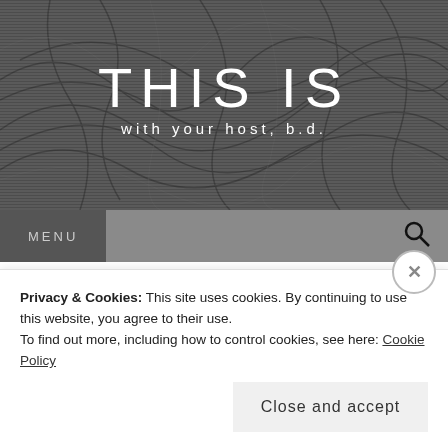[Figure (illustration): Dark grayscale abstract banner header with tangled wire/cable illustration as background texture]
THIS IS
with your host, b.d.
MENU
HI02CD
Privacy & Cookies: This site uses cookies. By continuing to use this website, you agree to their use.
To find out more, including how to control cookies, see here: Cookie Policy
Close and accept